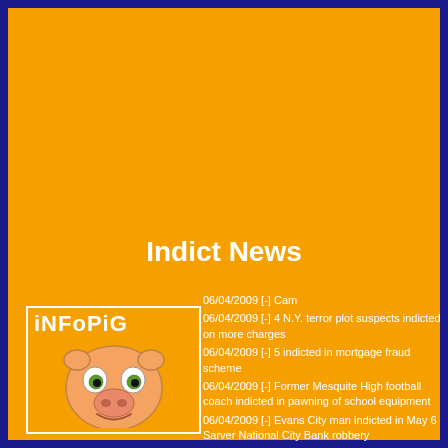Indict News
[Figure (logo): iNFoPiG logo with cartoon pig face inside a white-bordered box]
06/04/2009 [-] Cam
06/04/2009 [-] 4 N.Y. terror plot suspects indicted on more charges
06/04/2009 [-] 5 indicted in mortgage fraud scheme
06/04/2009 [-] Former Mesquite High football coach indicted in pawning of school equipment
06/04/2009 [-] Evans City man indicted in May 6 Sarver National City Bank robbery
06/04/2009 [-] Three men indicted on charges